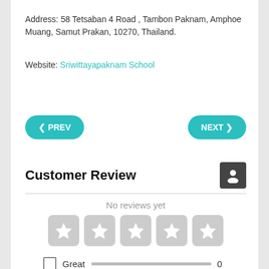Address: 58 Tetsaban 4 Road , Tambon Paknam, Amphoe Muang, Samut Prakan, 10270, Thailand.
Website: Sriwittayapaknam School
◀ PREV
NEXT ▶
Customer Review
No reviews yet
[Figure (other): Five empty star rating boxes displayed in a row, all grey/unfilled]
Great  0